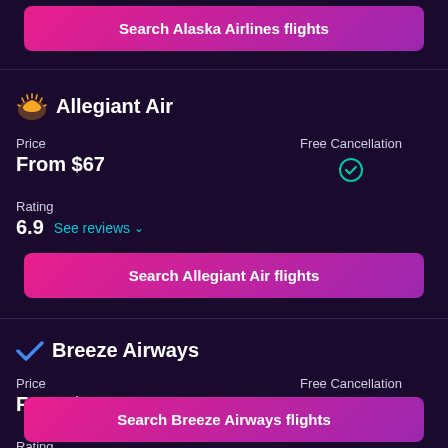Search Alaska Airlines flights
Allegiant Air
Price
From $67
Free Cancellation
Rating
6.9  See reviews
Search Allegiant Air flights
Breeze Airways
Price
From $78
Free Cancellation
Rating
9.1  See reviews
Search Breeze Airways flights